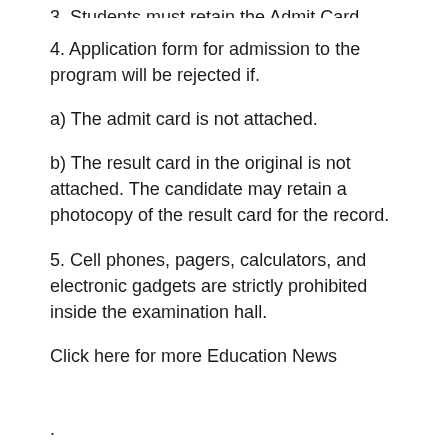3. Students must retain the Admit Card.
4. Application form for admission to the program will be rejected if.
a) The admit card is not attached.
b) The result card in the original is not attached. The candidate may retain a photocopy of the result card for the record.
5. Cell phones, pagers, calculators, and electronic gadgets are strictly prohibited inside the examination hall.
Click here for more Education News
.